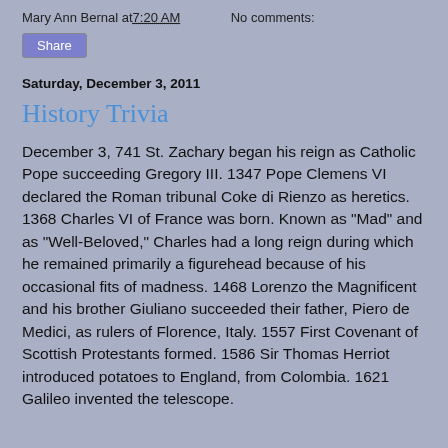Mary Ann Bernal at 7:20 AM     No comments:
Share
Saturday, December 3, 2011
History Trivia
December 3, 741 St. Zachary began his reign as Catholic Pope succeeding Gregory III. 1347 Pope Clemens VI declared the Roman tribunal Coke di Rienzo as heretics. 1368 Charles VI of France was born. Known as "Mad" and as "Well-Beloved," Charles had a long reign during which he remained primarily a figurehead because of his occasional fits of madness. 1468 Lorenzo the Magnificent and his brother Giuliano succeeded their father, Piero de Medici, as rulers of Florence, Italy. 1557 First Covenant of Scottish Protestants formed. 1586 Sir Thomas Herriot introduced potatoes to England, from Colombia. 1621 Galileo invented the telescope.